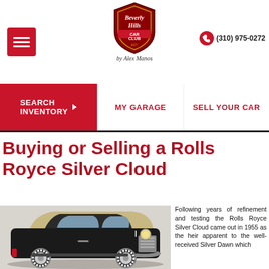[Figure (logo): Beverly Hills Car Club logo - shield shape with script 'by Alex Manos' below]
(310) 975-0272
SEARCH INVENTORY
MY GARAGE
SELL YOUR CAR
Buying or Selling a Rolls Royce Silver Cloud
[Figure (photo): Vintage Rolls Royce Silver Cloud car, tan and black two-tone, with whitewall tires, photographed in a studio setting]
Following years of refinement and testing the Rolls Royce Silver Cloud came out in 1955 as the heir apparent to the well-received Silver Dawn which